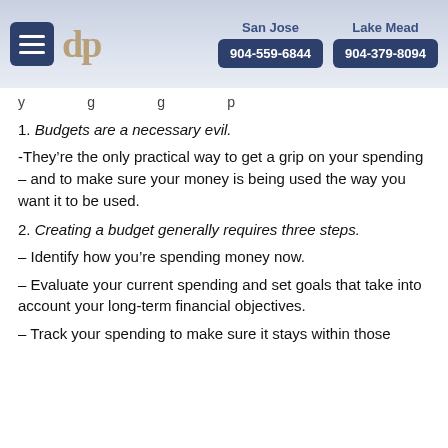dp  San Jose 904-559-6844  Lake Mead 904-379-8094
y ... g ... g ... p
1. Budgets are a necessary evil.
-They’re the only practical way to get a grip on your spending – and to make sure your money is being used the way you want it to be used.
2. Creating a budget generally requires three steps.
– Identify how you’re spending money now.
– Evaluate your current spending and set goals that take into account your long-term financial objectives.
– Track your spending to make sure it stays within those